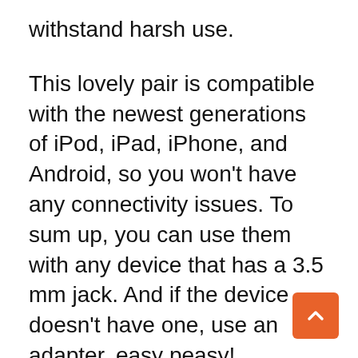withstand harsh use.
This lovely pair is compatible with the newest generations of iPod, iPad, iPhone, and Android, so you won't have any connectivity issues. To sum up, you can use them with any device that has a 3.5 mm jack. And if the device doesn't have one, use an adapter, easy peasy!
You can use these in noisy environments and still not get interrupted thanks to the incredible noise isolation technology. Thanks to the 20Hz to 20kHz frequency response